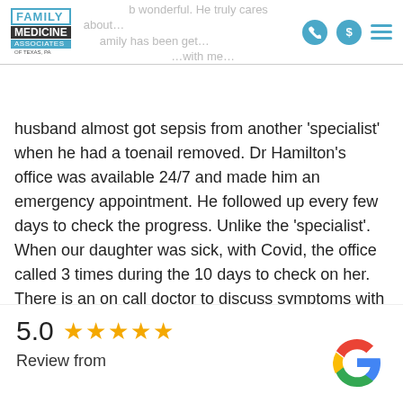[Figure (logo): Family Medicine Associates of Texas logo with blue and dark styling]
husband almost got sepsis from another 'specialist' when he had a toenail removed. Dr Hamilton's office was available 24/7 and made him an emergency appointment. He followed up every few days to check the progress. Unlike the 'specialist'. When our daughter was sick, with Covid, the office called 3 times during the 10 days to check on her. There is an on call doctor to discuss symptoms with after hours and on the weekends. Thank you for being our doctor."*
5.0
Review from
[Figure (logo): Google G logo in red, yellow, green, blue colors]